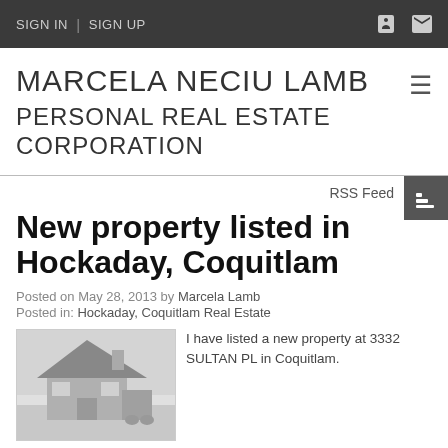SIGN IN | SIGN UP
MARCELA NECIU LAMB
PERSONAL REAL ESTATE CORPORATION
RSS Feed
New property listed in Hockaday, Coquitlam
Posted on May 28, 2013 by Marcela Lamb
Posted in: Hockaday, Coquitlam Real Estate
[Figure (photo): Exterior photo of a house property at 3332 Sultan PL in Coquitlam]
I have listed a new property at 3332 SULTAN PL in Coquitlam.